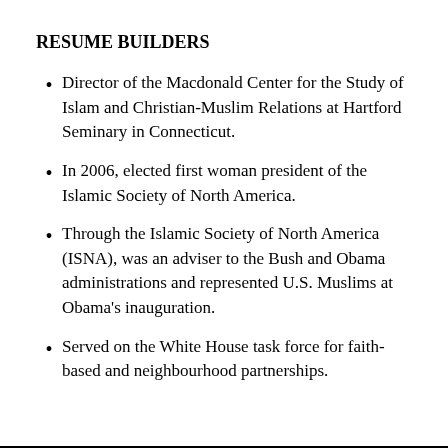RESUME BUILDERS
Director of the Macdonald Center for the Study of Islam and Christian-Muslim Relations at Hartford Seminary in Connecticut.
In 2006, elected first woman president of the Islamic Society of North America.
Through the Islamic Society of North America (ISNA), was an adviser to the Bush and Obama administrations and represented U.S. Muslims at Obama's inauguration.
Served on the White House task force for faith-based and neighbourhood partnerships.